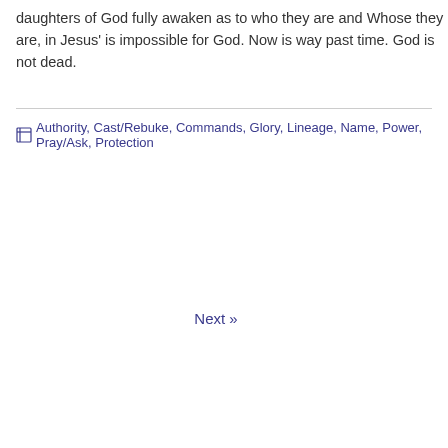daughters of God fully awaken as to who they are and Whose they are, in Jesus' is impossible for God. Now is way past time. God is not dead.
Authority, Cast/Rebuke, Commands, Glory, Lineage, Name, Power, Pray/Ask, Protection
Next »